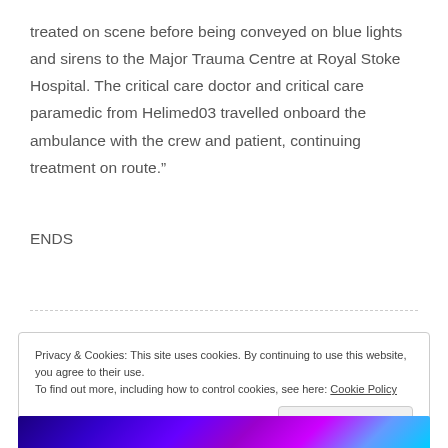treated on scene before being conveyed on blue lights and sirens to the Major Trauma Centre at Royal Stoke Hospital. The critical care doctor and critical care paramedic from Helimed03 travelled onboard the ambulance with the crew and patient, continuing treatment on route.”
ENDS
Privacy & Cookies: This site uses cookies. By continuing to use this website, you agree to their use.
To find out more, including how to control cookies, see here: Cookie Policy
[Figure (photo): Bottom portion of a colorful image with blue, purple, and white light effects]